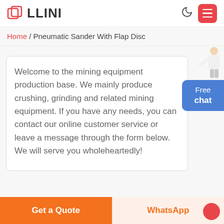LLINI
Home / Pneumatic Sander With Flap Disc
Welcome to the mining equipment production base. We mainly produce crushing, grinding and related mining equipment. If you have any needs, you can contact our online customer service or leave a message through the form below. We will serve you wholeheartedly!
Free chat
Get a Quote
WhatsApp